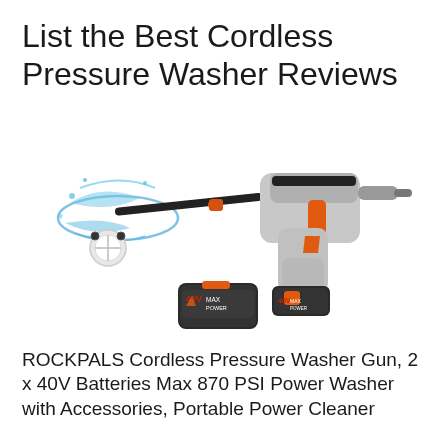List the Best Cordless Pressure Washer Reviews
[Figure (photo): Product photo of a cordless pressure washer gun (ROCKPALS) with a long black spray wand, white brush attachment, orange accents, gray body, and two 40V MAX POWER batteries — one installed on the gun and one standalone below. Blue water spray effect shown at the wand tip.]
ROCKPALS Cordless Pressure Washer Gun, 2 x 40V Batteries Max 870 PSI Power Washer with Accessories, Portable Power Cleaner